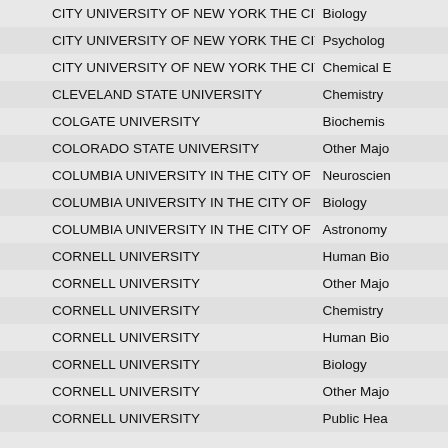| Institution | Major |
| --- | --- |
| CITY UNIVERSITY OF NEW YORK THE CITY COLLEGE | Biology |
| CITY UNIVERSITY OF NEW YORK THE CITY COLLEGE | Psychology |
| CITY UNIVERSITY OF NEW YORK THE CITY COLLEGE | Chemical E... |
| CLEVELAND STATE UNIVERSITY | Chemistry |
| COLGATE UNIVERSITY | Biochemis... |
| COLORADO STATE UNIVERSITY | Other Majo... |
| COLUMBIA UNIVERSITY IN THE CITY OF NEW YORK | Neuroscien... |
| COLUMBIA UNIVERSITY IN THE CITY OF NEW YORK | Biology |
| COLUMBIA UNIVERSITY IN THE CITY OF NEW YORK | Astronomy |
| CORNELL UNIVERSITY | Human Bio... |
| CORNELL UNIVERSITY | Other Majo... |
| CORNELL UNIVERSITY | Chemistry |
| CORNELL UNIVERSITY | Human Bio... |
| CORNELL UNIVERSITY | Biology |
| CORNELL UNIVERSITY | Other Majo... |
| CORNELL UNIVERSITY | Public Hea... |